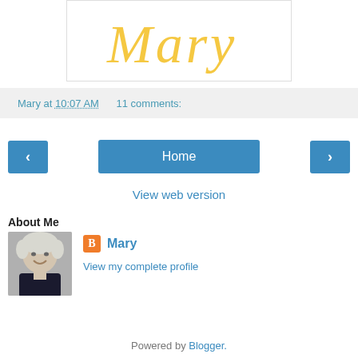[Figure (illustration): Decorative script text 'Mary' in gold/yellow cursive font on white background with thin border]
Mary at 10:07 AM    11 comments:
[Figure (other): Navigation bar with left arrow button, Home button, and right arrow button in blue]
View web version
About Me
[Figure (photo): Profile photo of a woman with short light hair, smiling, wearing a dark turtleneck]
Mary
View my complete profile
Powered by Blogger.